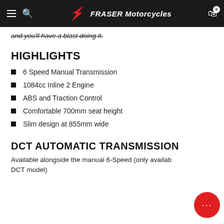FRASER Motorcycles
and you'll have a blast doing it.
HIGHLIGHTS
6 Speed Manual Transmission
1084cc Inline 2 Engine
ABS and Traction Control
Comfortable 700mm seat height
Slim design at 855mm wide
DCT AUTOMATIC TRANSMISSION
Available alongside the manual 6-Speed (only available DCT model)